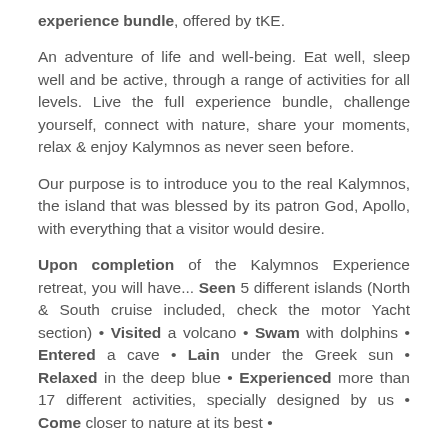experience bundle, offered by tKE.
An adventure of life and well-being. Eat well, sleep well and be active, through a range of activities for all levels. Live the full experience bundle, challenge yourself, connect with nature, share your moments, relax & enjoy Kalymnos as never seen before.
Our purpose is to introduce you to the real Kalymnos, the island that was blessed by its patron God, Apollo, with everything that a visitor would desire.
Upon completion of the Kalymnos Experience retreat, you will have... Seen 5 different islands (North & South cruise included, check the motor Yacht section) • Visited a volcano • Swam with dolphins • Entered a cave • Lain under the Greek sun • Relaxed in the deep blue • Experienced more than 17 different activities, specially designed by us • Come closer to nature at its best •